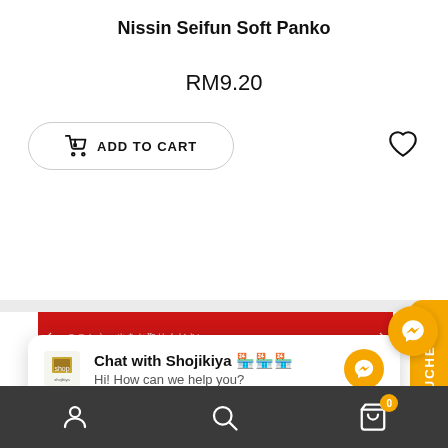Nissin Seifun Soft Panko
RM9.20
ADD TO CART
[Figure (screenshot): Product page screenshot showing Nissin Seifun Soft Panko with price RM9.20, Add to Cart button, wishlist heart icon, product packaging image with red banner and Japanese text, chat popup overlay with Shojikiya logo and messenger icon, VOUCHER tab, floating messenger button, and dark bottom navigation bar with user, search and cart icons.]
Chat with Shojikiya 🏪🏪🏪
Hi! How can we help you?
VOUCHER
0